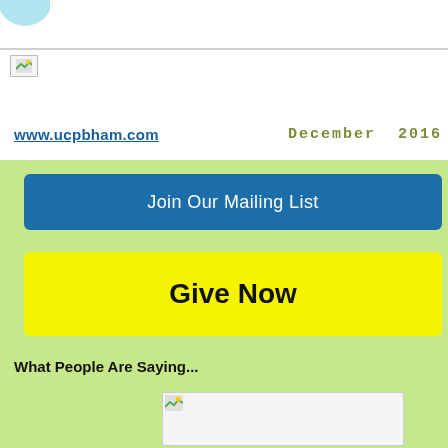[Figure (logo): Small image placeholder icon in top-left corner of white header area]
www.ucpbham.com    December  2016
[Figure (illustration): Blue rounded button labeled 'Join Our Mailing List' on green background]
[Figure (illustration): Yellow rounded button labeled 'Give Now' on green background]
What People Are Saying...
[Figure (photo): Small image placeholder on green background]